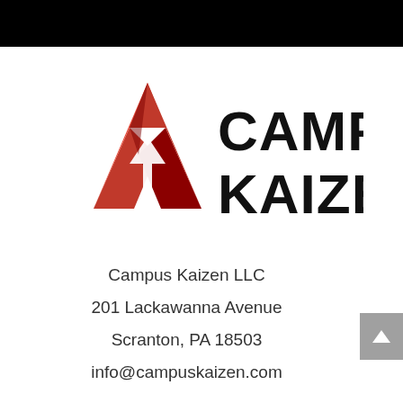[Figure (logo): Campus Kaizen logo with red geometric upward-arrow triangle shape and bold black text reading CAMPUS KAIZEN]
Campus Kaizen LLC
201 Lackawanna Avenue
Scranton, PA 18503
info@campuskaizen.com